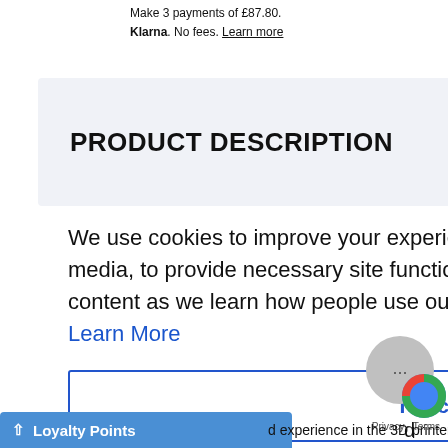Make 3 payments of £87.80. Klarna. No fees. Learn more
Make 3 payments of £186. Klarna. No fees. Learn m...
PRODUCT DESCRIPTION
We use cookies to improve your experience on our website and social media, to provide necessary site functionality and to show you personalised content as we learn how people use our site. Do you accept these cookies?  Learn More
I Accept
Loyalty Points
d experience in the 3D printer industry